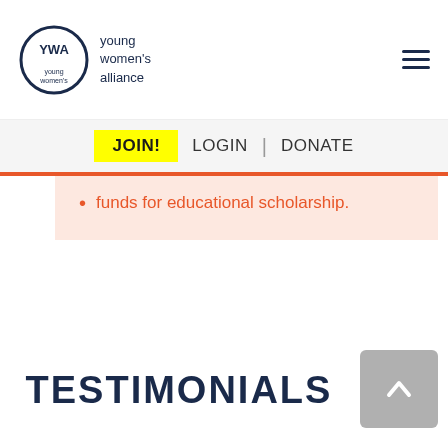Young Women's Alliance — navigation: JOIN! LOGIN DONATE
funds for educational scholarship.
Internal Job Board Slack Channel
Exclusive Weekly Newsletters
Members-only Slack and Facebook Group
TESTIMONIALS